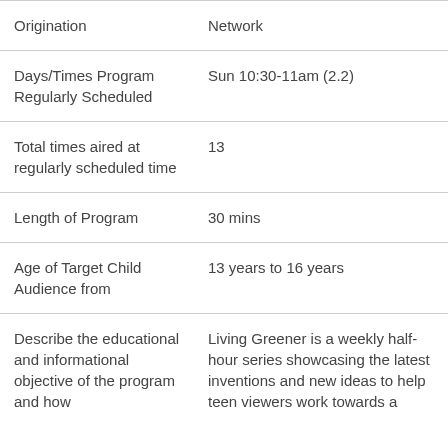| Field | Value |
| --- | --- |
| Origination | Network |
| Days/Times Program Regularly Scheduled | Sun 10:30-11am (2.2) |
| Total times aired at regularly scheduled time | 13 |
| Length of Program | 30 mins |
| Age of Target Child Audience from | 13 years to 16 years |
| Describe the educational and informational objective of the program and how | Living Greener is a weekly half-hour series showcasing the latest inventions and new ideas to help teen viewers work towards a |